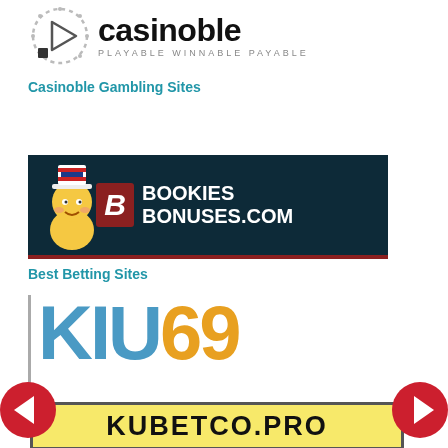[Figure (logo): Casinoble logo with circular play-button icon and text 'casinoble' with tagline 'PLAYABLE WINNABLE PAYABLE']
Casinoble Gambling Sites
[Figure (logo): Bookies Bonuses .com banner with dark teal background, red B logo box, mascot character wearing Uncle Sam hat]
Best Betting Sites
[Figure (logo): KIU69 logo in blue and orange large letters, with KUBETCO.PRO banner below in yellow]
[Figure (other): Left navigation arrow (red circle with white left arrow)]
[Figure (other): Right navigation arrow (red circle with white right arrow)]